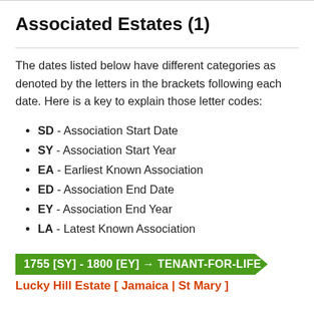Associated Estates (1)
The dates listed below have different categories as denoted by the letters in the brackets following each date. Here is a key to explain those letter codes:
SD - Association Start Date
SY - Association Start Year
EA - Earliest Known Association
ED - Association End Date
EY - Association End Year
LA - Latest Known Association
1755 [SY] - 1800 [EY] → TENANT-FOR-LIFE
Lucky Hill Estate [ Jamaica | St Mary ]